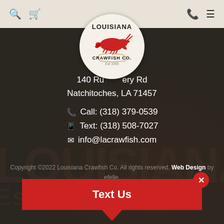Louisiana Crawfish Co. website header with search, cart, phone, and menu icons
[Figure (logo): Louisiana Crawfish Co. circular logo with crawfish illustration on cream background]
140 Ru...ery Rd
Natchitoches, LA 71457
Call: (318) 379-0539
Text: (318) 508-7027
info@lacrawfish.com
Copyright ©2022 Louisiana Crawfish Co. All rights reserved. Web Design by efelle.
Terms  Privacy
[Figure (other): Red 'Text Us' chat button widget with close X button]